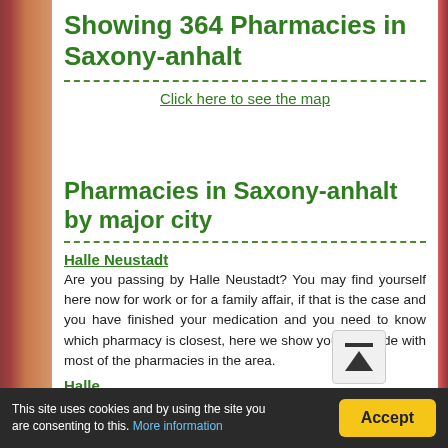Showing 364 Pharmacies in Saxony-anhalt
Click here to see the map
Pharmacies in Saxony-anhalt by major city
Halle Neustadt
Are you passing by Halle Neustadt? You may find yourself here now for work or for a family affair, if that is the case and you have finished your medication and you need to know which pharmacy is closest, here we show you the guide with most of the pharmacies in the area.
Halle
Stop looking for more online pharmacies in Halle. Discover the most exhaustive pharmacy guide in Germany with which from now on you will find it much easier to find the nearest pharmacy to your location.
This site uses cookies and by using the site you are consenting to this. More information